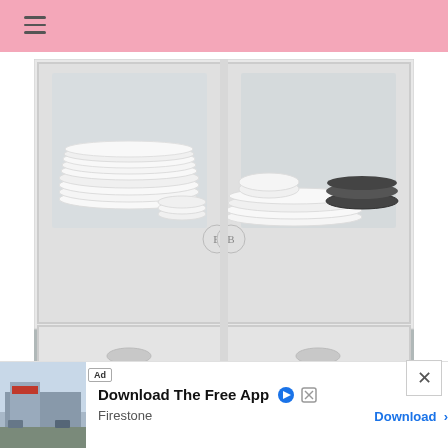[Figure (photo): Kitchen glass-front white cabinet with two upper compartments showing stacks of white plates, bowls, and black patterned dishware, and two lower drawers with round handles.]
[Figure (screenshot): Advertisement banner: 'Download The Free App' for Firestone with a Download button, Ad badge, and play/close icons.]